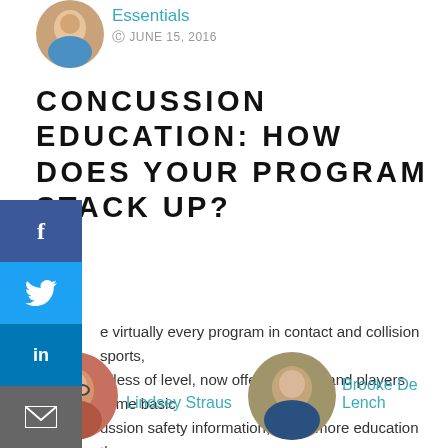[Figure (photo): Small circular avatar photo of a person at top left]
Essentials
JUNE 15, 2016
CONCUSSION EDUCATION: HOW DOES YOUR PROGRAM STACK UP?
e virtually every program in contact and collision sports, rdless of level, now offers parents and players some basic ussion safety information, much more education than can n an
READ MORE ›
[Figure (photo): Circular avatar of Lindsey Straus]
Lindsey Straus
[Figure (photo): Circular avatar of Brooke De Lench]
Brooke De Lench